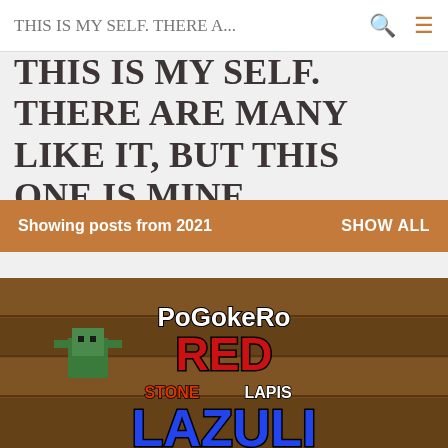THIS IS MY SELF. THERE A...
THIS IS MY SELF. THERE ARE MANY LIKE IT, BUT THIS ONE IS MINE.
Showing posts from 2021    SHOW ALL
[Figure (screenshot): Minecraft-style game screenshot showing the text 'PoGokeRo RED STONE LAPIS LAZULI' over a wooden block background with a green character]